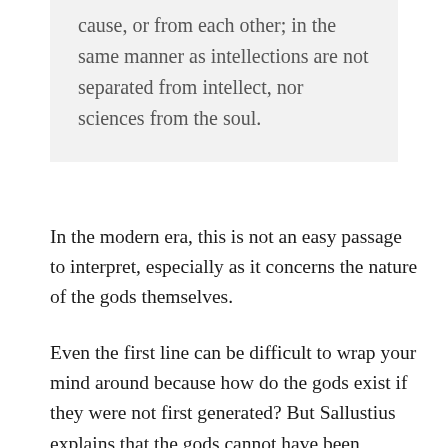cause, or from each other; in the same manner as intellections are not separated from intellect, nor sciences from the soul.
In the modern era, this is not an easy passage to interpret, especially as it concerns the nature of the gods themselves.
Even the first line can be difficult to wrap your mind around because how do the gods exist if they were not first generated? But Sallustius explains that the gods cannot have been generated, as the gods possess eternal natures and eternity itself cannot be generated – it